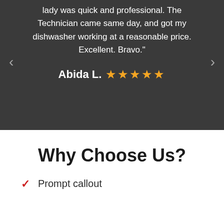lady was quick and professional. The Technician came same day, and got my dishwasher working at a reasonable price. Excellent. Bravo."
Abida L. ★★★★★
Why Choose Us?
Prompt callout